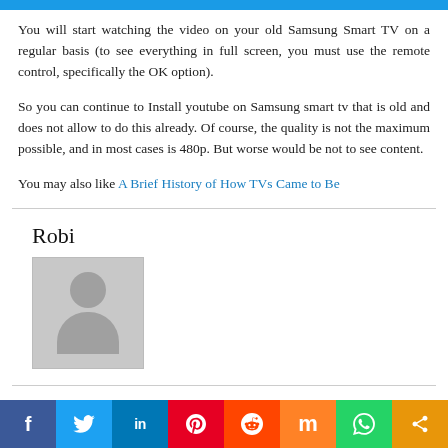[Figure (other): Blue horizontal banner/bar at top of page]
You will start watching the video on your old Samsung Smart TV on a regular basis (to see everything in full screen, you must use the remote control, specifically the OK option).
So you can continue to Install youtube on Samsung smart tv that is old and does not allow to do this already. Of course, the quality is not the maximum possible, and in most cases is 480p. But worse would be not to see content.
You may also like A Brief History of How TVs Came to Be
Robi
[Figure (illustration): Generic user avatar placeholder image — grey square with silhouette of person]
[Figure (infographic): Social media sharing bar with icons: Facebook, Twitter, LinkedIn, Pinterest, Reddit, Mix, WhatsApp, Share]